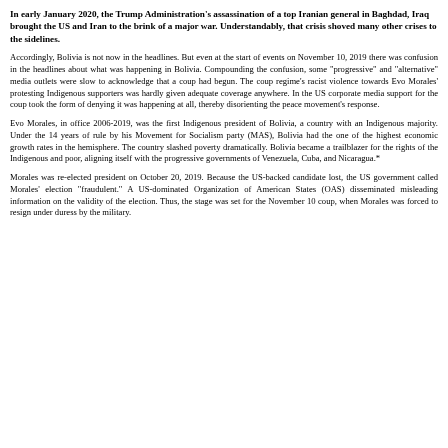In early January 2020, the Trump Administration's assassination of a top Iranian general in Baghdad, Iraq brought the US and Iran to the brink of a major war. Understandably, that crisis shoved many other crises to the sidelines.
Accordingly, Bolivia is not now in the headlines. But even at the start of events on November 10, 2019 there was confusion in the headlines about what was happening in Bolivia. Compounding the confusion, some "progressive" and "alternative" media outlets were slow to acknowledge that a coup had begun. The coup regime's racist violence towards Evo Morales' protesting Indigenous supporters was hardly given adequate coverage anywhere. In the US corporate media support for the coup took the form of denying it was happening at all, thereby disorienting the peace movement's response.
Evo Morales, in office 2006-2019, was the first Indigenous president of Bolivia, a country with an Indigenous majority. Under the 14 years of rule by his Movement for Socialism party (MAS), Bolivia had the one of the highest economic growth rates in the hemisphere. The country slashed poverty dramatically. Bolivia became a trailblazer for the rights of the Indigenous and poor, aligning itself with the progressive governments of Venezuela, Cuba, and Nicaragua.*
Morales was re-elected president on October 20, 2019. Because the US-backed candidate lost, the US government called Morales' election "fraudulent." A US-dominated Organization of American States (OAS) disseminated misleading information on the validity of the election. Thus, the stage was set for the November 10 coup, when Morales was forced to resign under duress by the military.